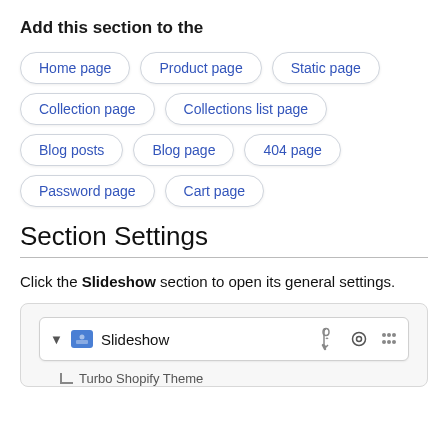Add this section to the
Home page
Product page
Static page
Collection page
Collections list page
Blog posts
Blog page
404 page
Password page
Cart page
Section Settings
Click the Slideshow section to open its general settings.
[Figure (screenshot): Screenshot of Shopify theme editor showing a Slideshow section row with eye and grid icons, and below it a Turbo Shopify Theme entry.]